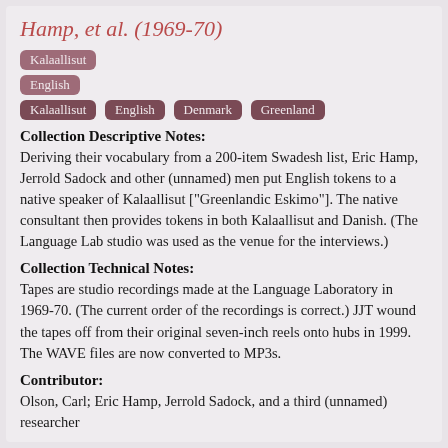Hamp, et al. (1969-70)
Kalaallisut
English
Kalaallisut   English   Denmark   Greenland
Collection Descriptive Notes:
Deriving their vocabulary from a 200-item Swadesh list, Eric Hamp, Jerrold Sadock and other (unnamed) men put English tokens to a native speaker of Kalaallisut ["Greenlandic Eskimo"]. The native consultant then provides tokens in both Kalaallisut and Danish. (The Language Lab studio was used as the venue for the interviews.)
Collection Technical Notes:
Tapes are studio recordings made at the Language Laboratory in 1969-70. (The current order of the recordings is correct.) JJT wound the tapes off from their original seven-inch reels onto hubs in 1999. The WAVE files are now converted to MP3s.
Contributor:
Olson, Carl; Eric Hamp, Jerrold Sadock, and a third (unnamed)
researcher